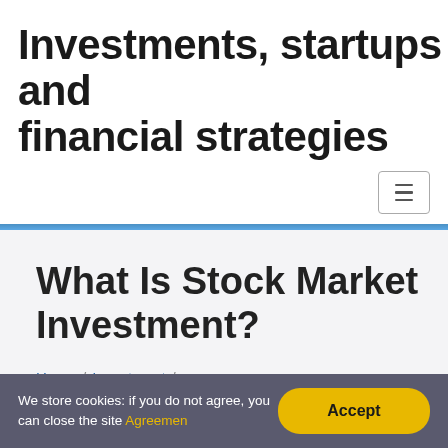Investments, startups and financial strategies
What Is Stock Market Investment?
Home / Investment / What Is Stock Market Investment?
We store cookies: if you do not agree, you can close the site Agreemen